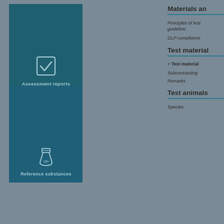[Figure (illustration): Teal box with two sections: top section shows a checkmark icon with label 'Assessment reports', bottom section shows a flask/beaker icon with label 'Reference substances']
Materials an
Principles of test guideline
GLP compliance
Test material
> Test material
Subcontracting
Remarks
Test animals
Species